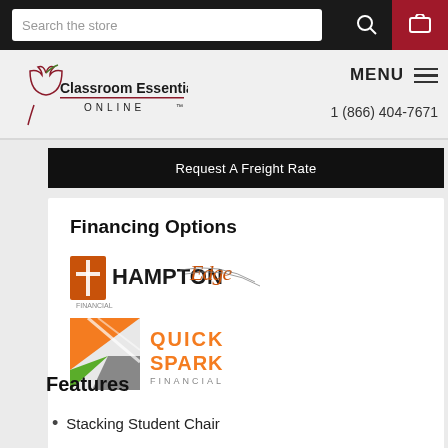Search the store
[Figure (logo): Classroom Essentials Online logo with apple graphic]
MENU
1 (866) 404-7671
Request A Freight Rate
Financing Options
[Figure (logo): Hampton Financial logo with orange/red crest and cursive overlay]
[Figure (logo): QuickSpark Financial logo with orange, green and grey geometric shapes]
Features
Stacking Student Chair